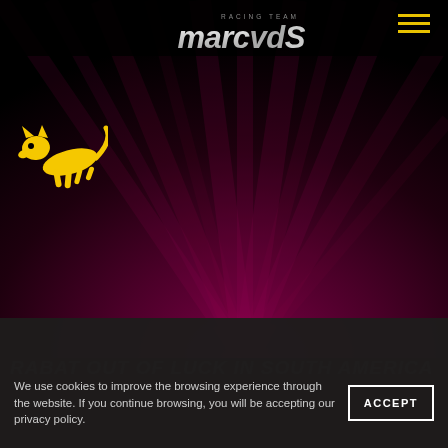[Figure (logo): Marc VDS Racing Team logo - italic stylized text 'marcvdS' with 'RACING TEAM' above in small caps, white and gray gradient]
[Figure (logo): Yellow cheetah/jaguar head silhouette logo on black background, upper left area]
[Figure (illustration): Dark purple/maroon background with radiating light ray lines emanating from bottom center, creating a spotlight/starburst effect]
RABAT OUT OF LUCK IN SOUTH AMERICA
We use cookies to improve the browsing experience through the website. If you continue browsing, you will be accepting our privacy policy.